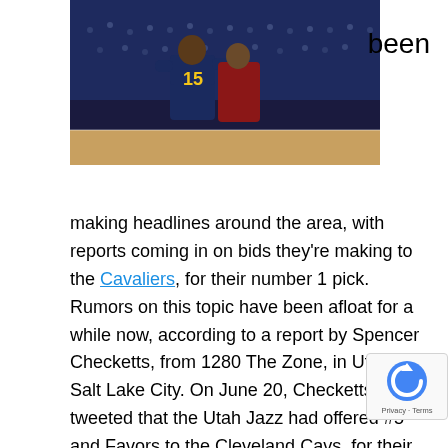[Figure (photo): Basketball players in game action, one wearing jersey #15, with crowd in background. Dark blue/navy uniforms visible.]
been
making headlines around the area, with reports coming in on bids they're making to the Cavaliers, for their number 1 pick. Rumors on this topic have been afloat for a while now, according to a report by Spencer Checketts, from 1280 The Zone, in Utah's Salt Lake City. On June 20, Checketts tweeted that the Utah Jazz had offered #5 and Favors to the Cleveland Cavs, for their No. 1 pick. At the time, it was unclear whether the target of the attention was Jabari Parker, as initially reported – or Andrew Wiggins.